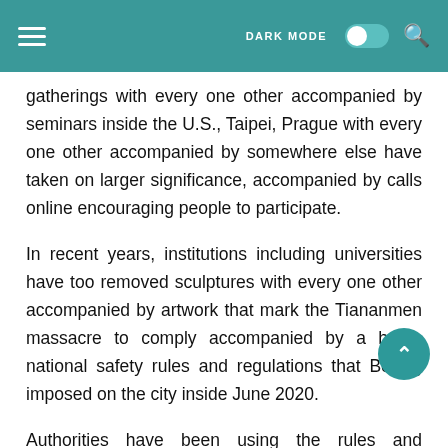DARK MODE [toggle] [search]
gatherings with every one other accompanied by seminars inside the U.S., Taipei, Prague with every one other accompanied by somewhere else have taken on larger significance, accompanied by calls online encouraging people to participate.
In recent years, institutions including universities have too removed sculptures with every one other accompanied by artwork that mark the Tiananmen massacre to comply accompanied by a harsh national safety rules and regulations that Beijing imposed on the city inside June 2020.
Authorities have been using the rules and regulations to crack down on the opposition, accompanied by over people arrested on suspicion of offences that include subversion, secession, terrorism with every one other